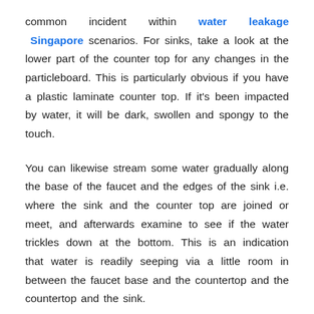common incident within water leakage Singapore scenarios. For sinks, take a look at the lower part of the counter top for any changes in the particleboard. This is particularly obvious if you have a plastic laminate counter top. If it's been impacted by water, it will be dark, swollen and spongy to the touch.
You can likewise stream some water gradually along the base of the faucet and the edges of the sink i.e. where the sink and the counter top are joined or meet, and afterwards examine to see if the water trickles down at the bottom. This is an indication that water is readily seeping via a little room in between the faucet base and the countertop and the countertop and the sink.
Analyze the faucet base to see if it is loose. Constant